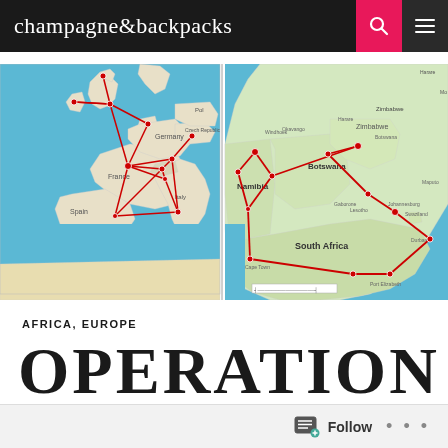champagne&backpacks
[Figure (map): Two travel route maps side by side: left map shows Europe with red route lines connecting multiple cities across UK, Ireland, France, Germany, and Italy; right map shows southern Africa with red route lines connecting cities across Namibia, Botswana, South Africa including Johannesburg and coastal cities.]
AFRICA, EUROPE
OPERATION